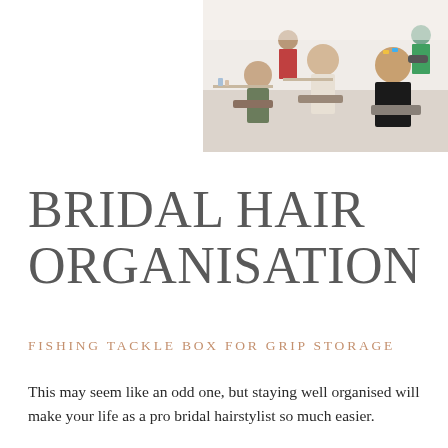[Figure (photo): A salon or hairdressing workshop scene showing multiple people getting their hair done, with stylists working on clients seated in chairs in a bright room.]
BRIDAL HAIR ORGANISATION
Fishing tackle box for grip storage
This may seem like an odd one, but staying well organised will make your life as a pro bridal hairstylist so much easier.